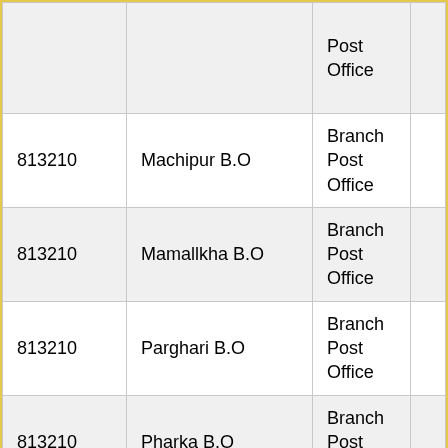|  |  | Post Office |  |
| 813210 | Machipur B.O | Branch Post Office |  |
| 813210 | Mamallkha B.O | Branch Post Office |  |
| 813210 | Parghari B.O | Branch Post Office |  |
| 813210 | Pharka B.O | Branch Post Office |  |